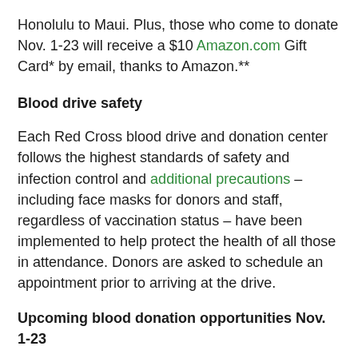Honolulu to Maui. Plus, those who come to donate Nov. 1-23 will receive a $10 Amazon.com Gift Card* by email, thanks to Amazon.**
Blood drive safety
Each Red Cross blood drive and donation center follows the highest standards of safety and infection control and additional precautions – including face masks for donors and staff, regardless of vaccination status – have been implemented to help protect the health of all those in attendance. Donors are asked to schedule an appointment prior to arriving at the drive.
Upcoming blood donation opportunities Nov. 1-23
TENNESSEE